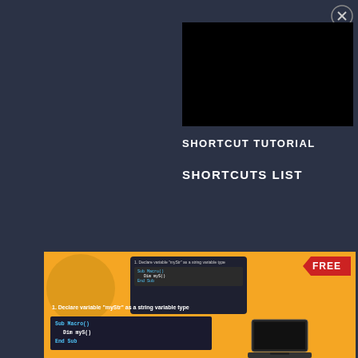[Figure (screenshot): Close button (X) in top right corner]
[Figure (screenshot): Black video panel in upper right area]
SHORTCUT TUTORIAL
SHORTCUTS LIST
[Figure (screenshot): Thumbnail image with orange background showing a FREE badge, a laptop screen with code snippet declaring variable 'myStr' as a string variable type, with Sub Macro(), Dim myS(), End Sub code block]